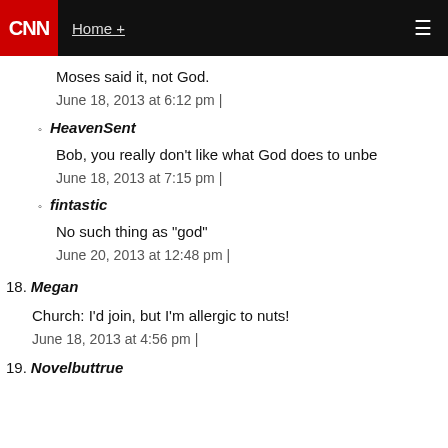CNN | Home +
Moses said it, not God.
June 18, 2013 at 6:12 pm |
HeavenSent
Bob, you really don't like what God does to unbe
June 18, 2013 at 7:15 pm |
fintastic
No such thing as "god"
June 20, 2013 at 12:48 pm |
18. Megan
Church: I'd join, but I'm allergic to nuts!
June 18, 2013 at 4:56 pm |
19. Novelbuttrue